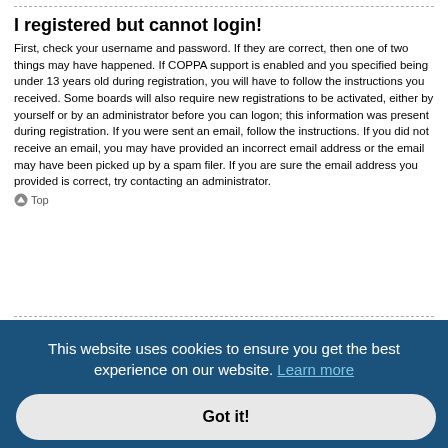I registered but cannot login!
First, check your username and password. If they are correct, then one of two things may have happened. If COPPA support is enabled and you specified being under 13 years old during registration, you will have to follow the instructions you received. Some boards will also require new registrations to be activated, either by yourself or by an administrator before you can logon; this information was present during registration. If you were sent an email, follow the instructions. If you did not receive an email, you may have provided an incorrect email address or the email may have been picked up by a spam filer. If you are sure the email address you provided is correct, try contacting an administrator.
Top
[Figure (screenshot): Cookie consent overlay with dark blue background. Text: 'This website uses cookies to ensure you get the best experience on our website. Learn more' and a 'Got it!' button.]
r ... ossible ... y would need to act
Top